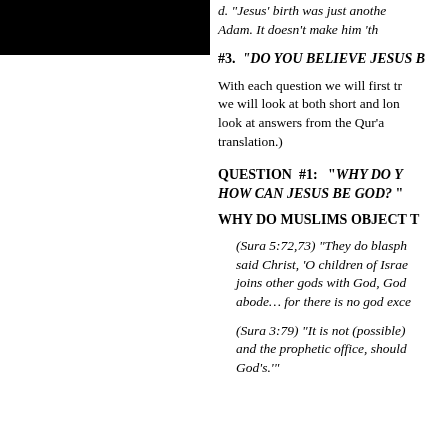[Figure (other): Black rectangle image placeholder in top-left corner]
d. "Jesus' birth was just another like Adam. It doesn't make him 'th...
#3. "DO YOU BELIEVE JESUS B...
With each question we will first try... we will look at both short and long... look at answers from the Qur'an... translation.)
QUESTION #1: "WHY DO Y... HOW CAN JESUS BE GOD? "
WHY DO MUSLIMS OBJECT T...
(Sura 5:72,73) "They do blasphe... said Christ, 'O children of Israe... joins other gods with God, God... abode… for there is no god exce...
(Sura 3:79) "It is not (possible)... and the prophetic office, should... God's.'"